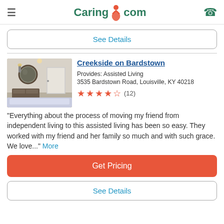Caring.com
See Details
Creekside on Bardstown
Provides: Assisted Living
3535 Bardstown Road, Louisville, KY 40218
★★★★½ (12)
"Everything about the process of moving my friend from independent living to this assisted living has been so easy. They worked with my friend and her family so much and with such grace. We love..." More
Get Pricing
See Details